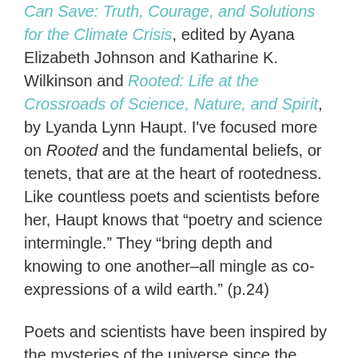Can Save: Truth, Courage, and Solutions for the Climate Crisis, edited by Ayana Elizabeth Johnson and Katharine K. Wilkinson and Rooted: Life at the Crossroads of Science, Nature, and Spirit, by Lyanda Lynn Haupt. I've focused more on Rooted and the fundamental beliefs, or tenets, that are at the heart of rootedness. Like countless poets and scientists before her, Haupt knows that “poetry and science intermingle.” They “bring depth and knowing to one another–all mingle as co-expressions of a wild earth.” (p.24)
Poets and scientists have been inspired by the mysteries of the universe since the dawn of time. All living creatures are guided by the natural cycle of light and dark created by earth’s rotation and orbit around the sun. But we are disrupting these rhythms by leaving the lights on. Mounting evidence makes